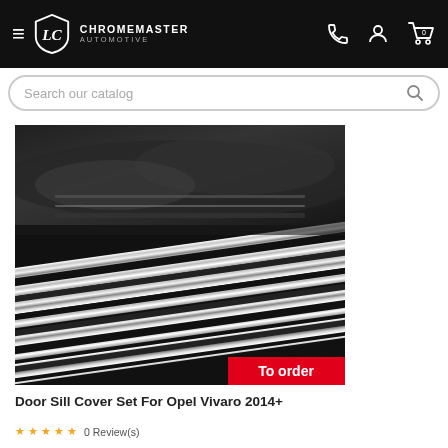CHROMEMASTER AUTOMOTIVE
Search our catalog
[Figure (photo): Close-up photo of chrome door sill covers on a car, showing reflective stainless steel strips with a 'To order' red badge in the bottom right corner.]
Door Sill Cover Set For Opel Vivaro 2014+
0 Review(s)